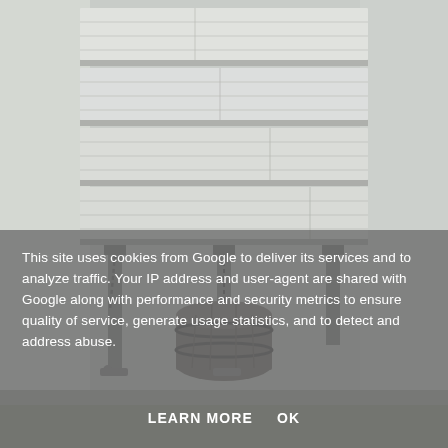[Figure (photo): Outdoor photo of white-painted wooden stair steps supported by metal legs/frame, with a wooden barrel or bucket visible below, on a concrete or grass surface. Light gray/white tones throughout.]
This site uses cookies from Google to deliver its services and to analyze traffic. Your IP address and user-agent are shared with Google along with performance and security metrics to ensure quality of service, generate usage statistics, and to detect and address abuse.
LEARN MORE    OK